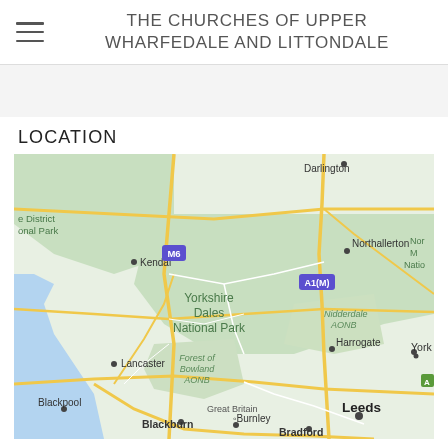THE CHURCHES OF UPPER WHARFEDALE AND LITTONDALE
LOCATION
[Figure (map): Google Maps view showing Yorkshire Dales National Park and surrounding region in northern England, including Kendal, Lancaster, Northallerton, Harrogate, Leeds, Bradford, Blackburn, Burnley, Blackpool. Shows M6, A1(M) roads. Features include Nidderdale AONB, Forest of Bowland AONB, and North Yorkshire Moors National Park edge.]